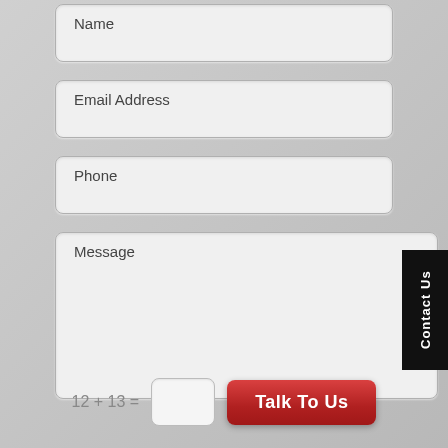Name
Email Address
Phone
Message
Contact Us
12 + 13 =
Talk To Us